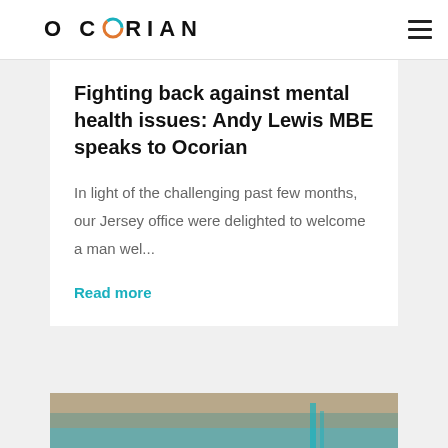OCORIAN
Fighting back against mental health issues: Andy Lewis MBE speaks to Ocorian
In light of the challenging past few months, our Jersey office were delighted to welcome a man wel...
Read more
[Figure (photo): Partial photo visible at the bottom of the page, showing a blurred outdoor or indoor scene with teal/brown tones]